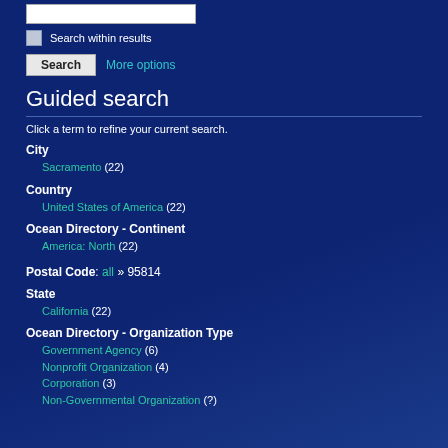[search input box]
Search within results
Search   More options
Guided search
Click a term to refine your current search.
City
Sacramento (22)
Country
United States of America (22)
Ocean Directory - Continent
America: North (22)
Postal Code: all » 95814
State
California (22)
Ocean Directory - Organization Type
Government Agency (6)
Nonprofit Organization (4)
Corporation (3)
Non-Governmental Organization (?)